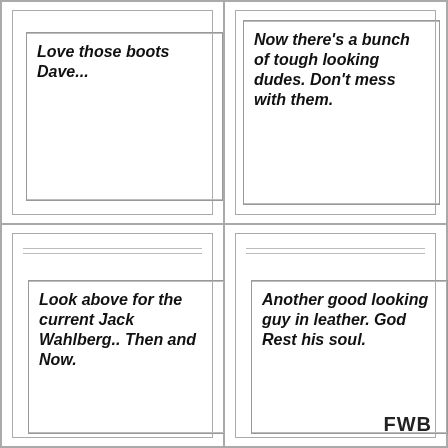Love those boots Dave...
Now there’s a bunch of tough looking dudes. Don’t mess with them.
Look above for the current Jack Wahlberg.. Then and Now.
Another good looking guy in leather. God Rest his soul.